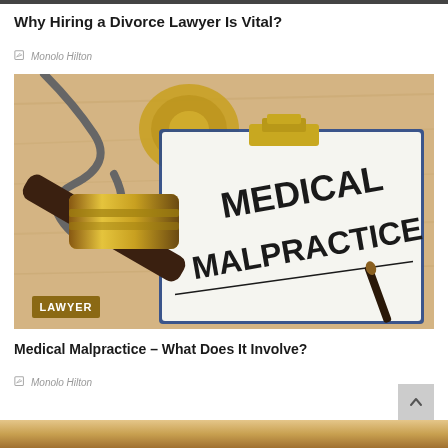Why Hiring a Divorce Lawyer Is Vital?
✎ Monolo Hilton
[Figure (photo): A photo of a legal clipboard with 'MEDICAL MALPRACTICE' text, a judge's gavel, a stethoscope, and a pen on a wooden surface. A label overlay reads 'LAWYER'.]
Medical Malpractice – What Does It Involve?
✎ Monolo Hilton